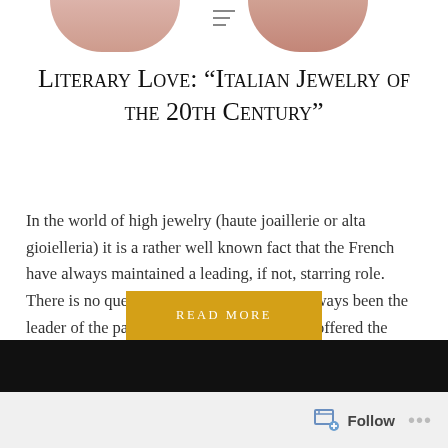[Figure (photo): Cropped top portion showing two partial portrait images side by side with a hamburger/menu icon between them]
Literary Love: “Italian Jewelry of the 20th Century”
In the world of high jewelry (haute joaillerie or alta gioielleria) it is a rather well known fact that the French have always maintained a leading, if not, starring role. There is no question that the French have always been the leader of the pack, but Melissa Gabardi has offered the reader an amazing examination focused on…
[Figure (other): Gold/amber colored READ MORE button]
[Figure (photo): Dark bottom image strip, partial photograph]
Follow ...